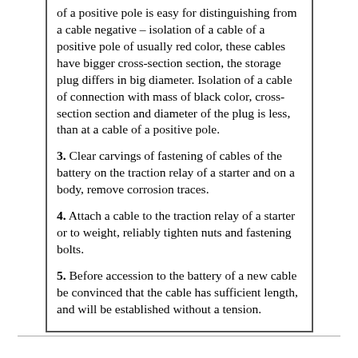of a positive pole is easy for distinguishing from a cable negative – isolation of a cable of a positive pole of usually red color, these cables have bigger cross-section section, the storage plug differs in big diameter. Isolation of a cable of connection with mass of black color, cross-section section and diameter of the plug is less, than at a cable of a positive pole.
3. Clear carvings of fastening of cables of the battery on the traction relay of a starter and on a body, remove corrosion traces.
4. Attach a cable to the traction relay of a starter or to weight, reliably tighten nuts and fastening bolts.
5. Before accession to the battery of a new cable be convinced that the cable has sufficient length, and will be established without a tension.